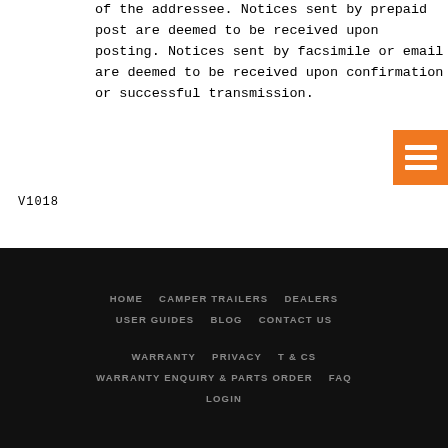of the addressee. Notices sent by prepaid post are deemed to be received upon posting. Notices sent by facsimile or email are deemed to be received upon confirmation or successful transmission.
V1018
HOME   CAMPER TRAILERS   DEALERS   USER GUIDES   BLOG   CONTACT US   WARRANTY   PRIVACY   T & CS   WARRANTY ENQUIRY & PARTS ORDER   FAQ   LOGIN